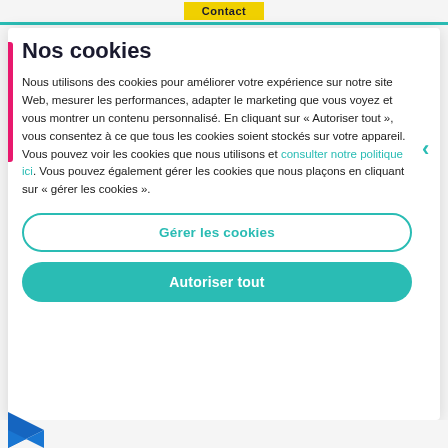Contact
Nos cookies
Nous utilisons des cookies pour améliorer votre expérience sur notre site Web, mesurer les performances, adapter le marketing que vous voyez et vous montrer un contenu personnalisé. En cliquant sur « Autoriser tout », vous consentez à ce que tous les cookies soient stockés sur votre appareil. Vous pouvez voir les cookies que nous utilisons et consulter notre politique ici. Vous pouvez également gérer les cookies que nous plaçons en cliquant sur « gérer les cookies ».
Gérer les cookies
Autoriser tout